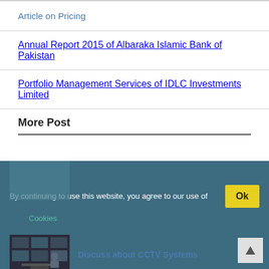Article on Pricing
Annual Report 2015 of Albaraka Islamic Bank of Pakistan
Portfolio Management Services of IDLC Investments Limited
More Post
By continuing to use this website, you agree to our use of Cookies
[Figure (photo): Thumbnail image, blurred/dark]
[Figure (photo): Man in front of CCTV monitors]
Discuss about CCTV Systems